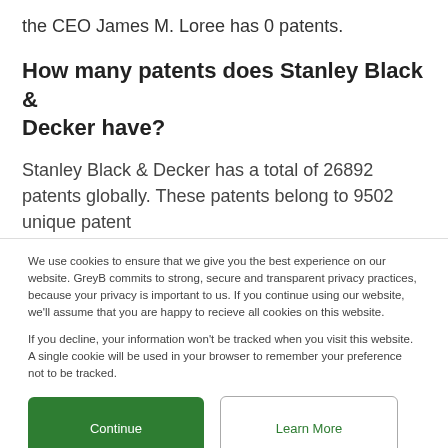the CEO James M. Loree has 0 patents.
How many patents does Stanley Black & Decker have?
Stanley Black & Decker has a total of 26892 patents globally. These patents belong to 9502 unique patent
We use cookies to ensure that we give you the best experience on our website. GreyB commits to strong, secure and transparent privacy practices, because your privacy is important to us. If you continue using our website, we'll assume that you are happy to recieve all cookies on this website.
If you decline, your information won't be tracked when you visit this website. A single cookie will be used in your browser to remember your preference not to be tracked.